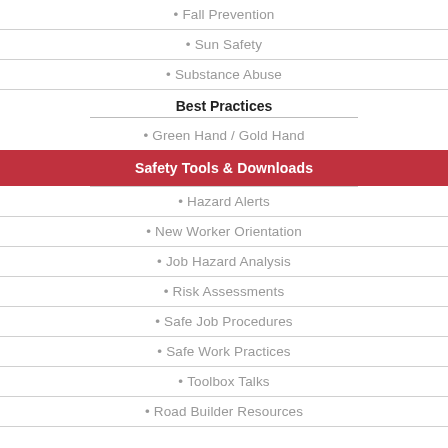• Fall Prevention
• Sun Safety
• Substance Abuse
Best Practices
• Green Hand / Gold Hand
Safety Tools & Downloads
• Hazard Alerts
• New Worker Orientation
• Job Hazard Analysis
• Risk Assessments
• Safe Job Procedures
• Safe Work Practices
• Toolbox Talks
• Road Builder Resources